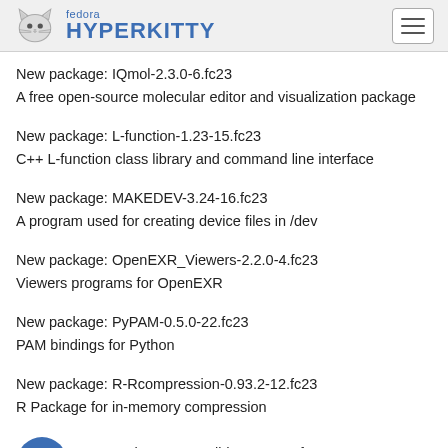fedora HYPERKITTY
New package: IQmol-2.3.0-6.fc23
A free open-source molecular editor and visualization package
New package: L-function-1.23-15.fc23
C++ L-function class library and command line interface
New package: MAKEDEV-3.24-16.fc23
A program used for creating device files in /dev
New package: OpenEXR_Viewers-2.2.0-4.fc23
Viewers programs for OpenEXR
New package: PyPAM-0.5.0-22.fc23
PAM bindings for Python
New package: R-Rcompression-0.93.2-12.fc23
R Package for in-memory compression
New package: R-Rsolid-0.9.31-16.fc23
Quantile normalization and base calling for second generation...